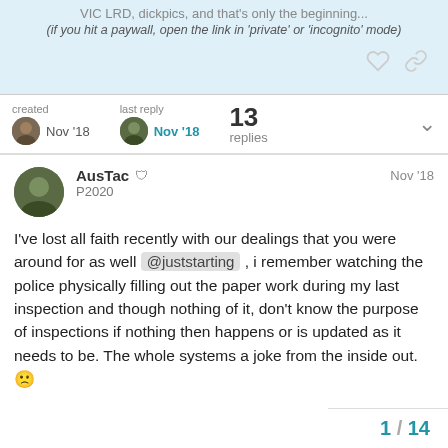VIC LRD, dickpics, and that's only the beginning...
(if you hit a paywall, open the link in 'private' or 'incognito' mode)
created Nov '18   last reply Nov '18   13 replies
AusTac P2020 Nov '18
I've lost all faith recently with our dealings that you were around for as well @juststarting , i remember watching the police physically filling out the paper work during my last inspection and though nothing of it, don't know the purpose of inspections if nothing then happens or is updated as it needs to be. The whole systems a joke from the inside out. 🙁
1 / 14